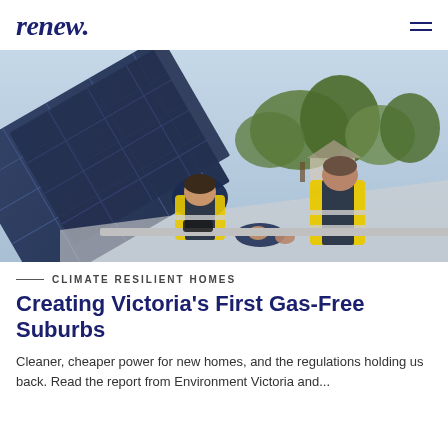renew.
[Figure (photo): Two workers in hi-vis yellow safety vests installing solar panels on a rooftop. Trees and suburban houses visible in the background. One worker is bent over using a drill while the other assists with the panel mounting.]
CLIMATE RESILIENT HOMES
Creating Victoria's First Gas-Free Suburbs
Cleaner, cheaper power for new homes, and the regulations holding us back. Read the report from Environment Victoria and...